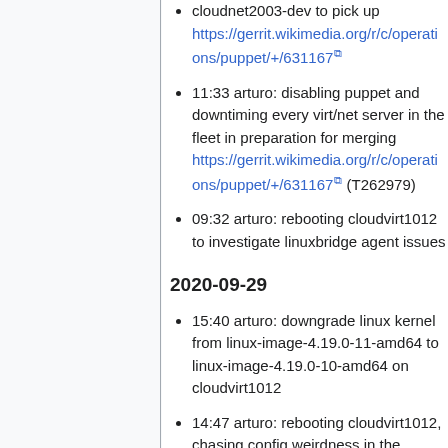cloudnet2003-dev to pick up https://gerrit.wikimedia.org/r/c/operations/puppet/+/631167
11:33 arturo: disabling puppet and downtiming every virt/net server in the fleet in preparation for merging https://gerrit.wikimedia.org/r/c/operations/puppet/+/631167 (T262979)
09:32 arturo: rebooting cloudvirt1012 to investigate linuxbridge agent issues
2020-09-29
15:40 arturo: downgrade linux kernel from linux-image-4.19.0-11-amd64 to linux-image-4.19.0-10-amd64 on cloudvirt1012
14:47 arturo: rebooting cloudvirt1012, chasing config weirdness in the linuxbridge agent